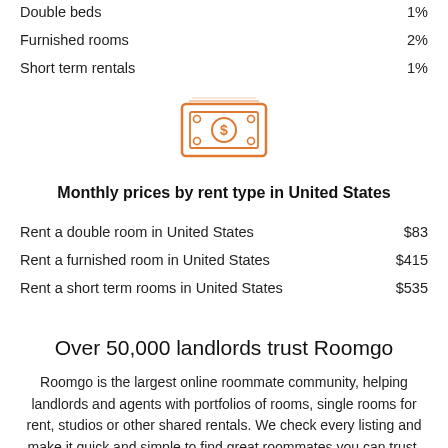Double beds   1%
Furnished rooms   2%
Short term rentals   1%
[Figure (illustration): Orange icon of a cash/money bill with decorative border and circular center design]
Monthly prices by rent type in United States
Rent a double room in United States   $83
Rent a furnished room in United States   $415
Rent a short term rooms in United States   $535
Over 50,000 landlords trust Roomgo
Roomgo is the largest online roommate community, helping landlords and agents with portfolios of rooms, single rooms for rent, studios or other shared rentals. We check every listing and make it quick and simple to find great roommates you can trust. Since 1999, our service has created over 5 million room rentals